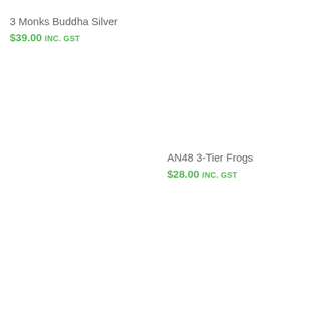3 Monks Buddha Silver
$39.00 inc. GST
AN48 3-Tier Frogs
$28.00 inc. GST